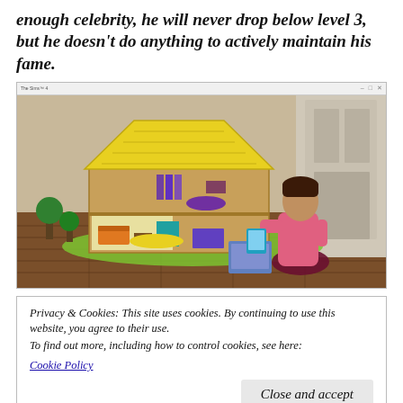enough celebrity, he will never drop below level 3, but he doesn't do anything to actively maintain his fame.
[Figure (screenshot): Screenshot of The Sims 4 game showing a Sim character kneeling on a wooden floor playing with a dollhouse. The dollhouse has a yellow roof and contains miniature furniture. Small green trees are placed around the base.]
Privacy & Cookies: This site uses cookies. By continuing to use this website, you agree to their use.
To find out more, including how to control cookies, see here: Cookie Policy
[Figure (screenshot): Partial screenshot at bottom of page showing the top of a Sim character's head.]